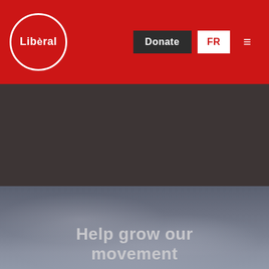[Figure (logo): Liberal Party of Canada logo — white circle with 'Libéral' text in white on red background]
Donate | FR | Menu
[Figure (photo): Dark cloudy sky background image with muted blue-gray tones]
Help grow our movement